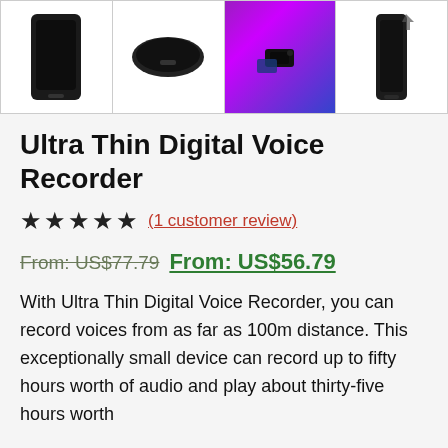[Figure (photo): Four thumbnail images of an Ultra Thin Digital Voice Recorder device from different angles, including a purple/colorful background shot]
Ultra Thin Digital Voice Recorder
(1 customer review) — 5 stars rating
From: US$77.79  From: US$56.79
With Ultra Thin Digital Voice Recorder, you can record voices from as far as 100m distance. This exceptionally small device can record up to fifty hours worth of audio and play about thirty-five hours worth